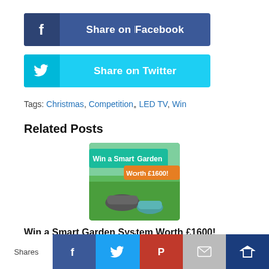[Figure (other): Share on Facebook button — blue button with Facebook 'f' icon on left and 'Share on Facebook' text]
[Figure (other): Share on Twitter button — light blue button with Twitter bird icon on left and 'Share on Twitter' text]
Tags: Christmas, Competition, LED TV, Win
Related Posts
[Figure (photo): Promotional image: robot lawn mowers on grass with overlay text 'Win a Smart Garden Worth £1600!']
Win a Smart Garden System Worth £1600! [Competition Closed]
Competition is now closed. Put your feet up and enjoy your garden.
Shares  [Facebook] [Twitter] [Pinterest] [Email] [Crown]